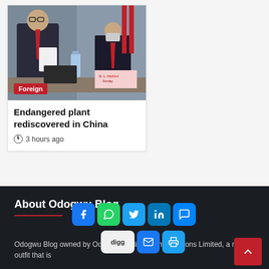[Figure (photo): Photo of a man speaking at a meeting table, wearing glasses and a red tie, with Chinese flags in background]
Foreign
Endangered plant rediscovered in China
3 hours ago
About Odogwu Blog
Odogwu Blog owned by Odogwu Media Communications Limited, a media outfit that is